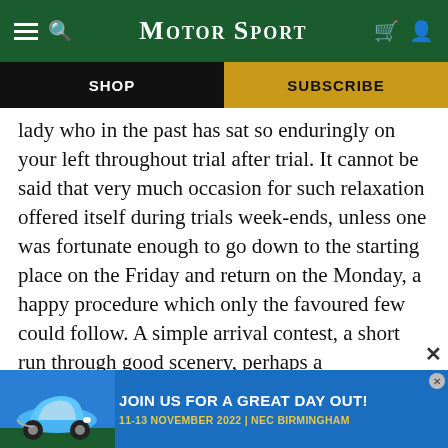Motor Sport
SHOP
SUBSCRIBE
lady who in the past has sat so enduringly on your left throughout trial after trial. It cannot be said that very much occasion for such relaxation offered itself during trials week-ends, unless one was fortunate enough to go down to the starting place on the Friday and return on the Monday, a happy procedure which only the favoured few could follow. A simple arrival contest, a short run through good scenery, perhaps a demonstration of an outstanding new car, and, for the rest, good food served in idealistic surroundings, should be all that would be ne
[Figure (screenshot): Advertisement banner for Motor Sport show: blue background with Porsche 911 car image, text 'JOIN US FOR A GREAT DAY OUT! 11-13 NOVEMBER 2022 | NEC BIRMINGHAM']